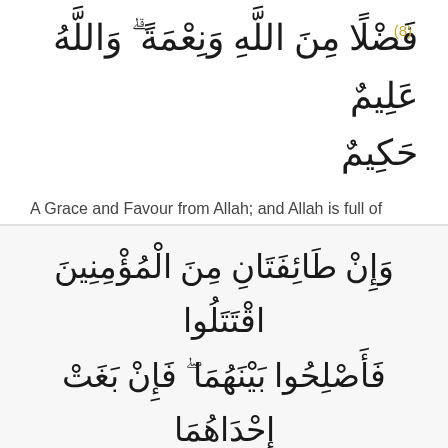(8)
فَضْلًا مِنَ اللَّهِ وَنِعْمَةً ۗ وَاللَّهُ عَلِيمٌ حَكِيمٌ
A Grace and Favour from Allah; and Allah is full of Knowledge and Wisdom.
(9)
وَإِنْ طَائِفَتَانِ مِنَ الْمُؤْمِنِينَ اقْتَتَلُوا فَأَصْلِحُوا بَيْنَهُمَا ۖ فَإِنْ بَغَتْ إِحْدَاهُمَا عَلَى الْأُخْرَىٰ فَقَاتِلُوا الَّتِي تَبْغِي حَتَّىٰ تَفِيءَ إِلَىٰ أَمْرِ اللَّهِ ۚ فَإِنْ فَاءَتْ فَأَصْلِحُوا بَيْنَهُمَا بِالْعَدْلِ